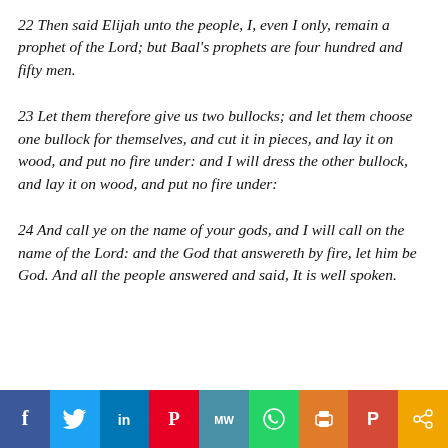22 Then said Elijah unto the people, I, even I only, remain a prophet of the Lord; but Baal's prophets are four hundred and fifty men.
23 Let them therefore give us two bullocks; and let them choose one bullock for themselves, and cut it in pieces, and lay it on wood, and put no fire under: and I will dress the other bullock, and lay it on wood, and put no fire under:
24 And call ye on the name of your gods, and I will call on the name of the Lord: and the God that answereth by fire, let him be God. And all the people answered and said, It is well spoken.
[Figure (other): Social media sharing bar with icons for Facebook, Twitter, LinkedIn, Pinterest, MeWe, WhatsApp, Print, Ryver, and Share]